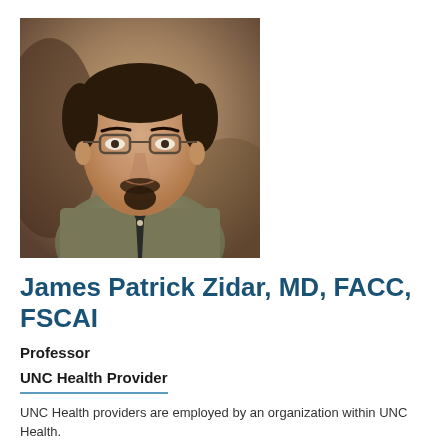[Figure (photo): Professional headshot of James Patrick Zidar, MD — middle-aged man with dark hair, glasses, goatee, wearing a dark tie and olive/khaki shirt, photographed against a warm blurred background.]
James Patrick Zidar, MD, FACC, FSCAI
Professor
UNC Health Provider
UNC Health providers are employed by an organization within UNC Health.